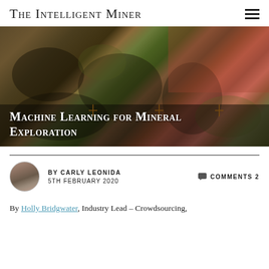The Intelligent Miner
[Figure (photo): Aerial/satellite photograph of rocky terrain with mineral deposits showing brown, dark green, and reddish coloration. Gold crosshair markers overlaid on the image.]
Machine Learning for Mineral Exploration
By Carly Leonida | 5th February 2020 | Comments 2
By Holly Bridgwater, Industry Lead – Crowdsourcing,